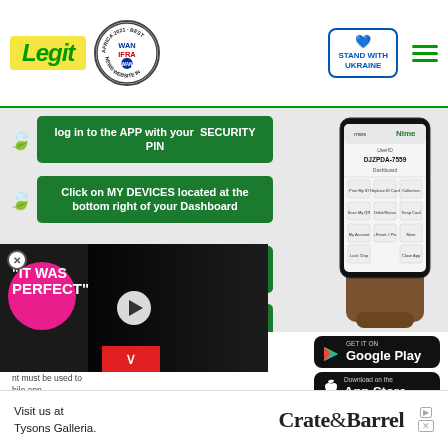Legit | WAN IFRA 2021 Best News Website in Africa | Stand With Ukraine
log in to the APP with your SECURITY PIN
Click on MY DEVICES located at the bottom right of your Dashboard
Click on ADD MOBILE NUMBER and input the mobile number you wish to link
Input the OTP sent to the mobile number
[Figure (screenshot): Hand holding a smartphone showing the Nime app dashboard with UserID DJZPDA-7559 and various menu options]
E NUMBERS
rtification Number
nt must be used to
bile.app
[Figure (screenshot): Video thumbnail showing two people with text 'IT WAS PERFECT']
[Figure (logo): Google Play store download button]
[Figure (logo): Apple App Store download button]
[Figure (advertisement): Crate & Barrel advertisement: Visit us at Tysons Galleria.]